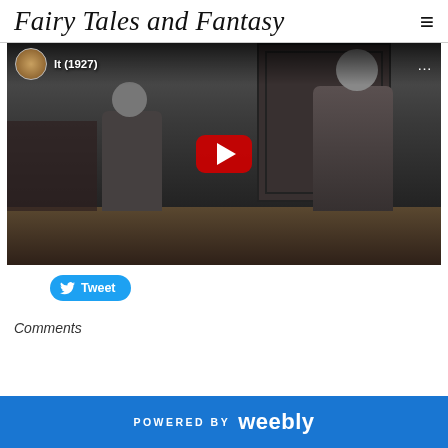Fairy Tales and Fantasy
[Figure (screenshot): YouTube video embed showing 'It (1927)' — a black-and-white silent film scene with people at a desk, with the YouTube play button overlay and video title in the top bar.]
Tweet
Comments
POWERED BY weebly